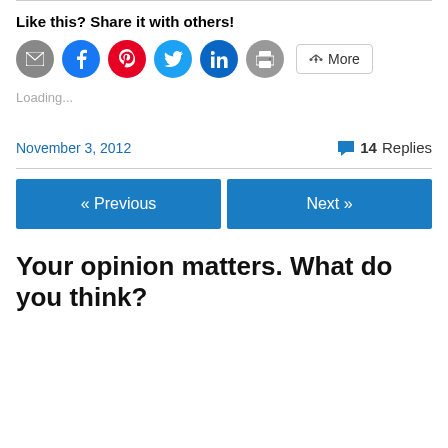Like this? Share it with others!
[Figure (infographic): Row of social share buttons: email (grey circle), Facebook (blue circle), Pinterest (red circle), Twitter (light blue circle), LinkedIn (dark blue circle), print (grey circle), and a More button with share icon]
Loading...
November 3, 2012
14 Replies
« Previous
Next »
Your opinion matters. What do you think?